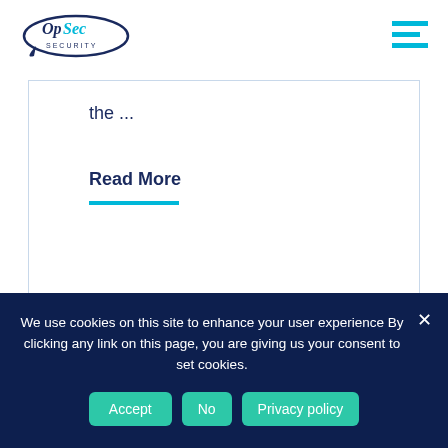[Figure (logo): OpSec Security logo with oval swoosh and company name]
the ...
Read More
< 1 Min Read   October 29, 2021
We use cookies on this site to enhance your user experience By clicking any link on this page, you are giving us your consent to set cookies.